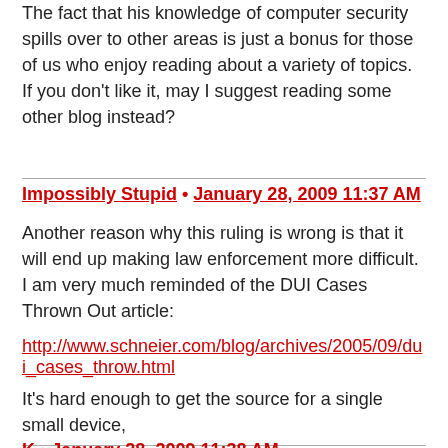The fact that his knowledge of computer security spills over to other areas is just a bonus for those of us who enjoy reading about a variety of topics. If you don't like it, may I suggest reading some other blog instead?
Impossibly Stupid • January 28, 2009 11:37 AM
Another reason why this ruling is wrong is that it will end up making law enforcement more difficult. I am very much reminded of the DUI Cases Thrown Out article:
http://www.schneier.com/blog/archives/2005/09/dui_cases_throw.html
It's hard enough to get the source for a single small device, so imagine trying to do a code verification for all the computer systems that process an entire case from start to finish. How long will it be before all kinds of prosecutions are challenged because the courts know that a black box system can contain grievous errors and yet refuse to open them up for defense review?
K • January 28, 2009 11:38 AM